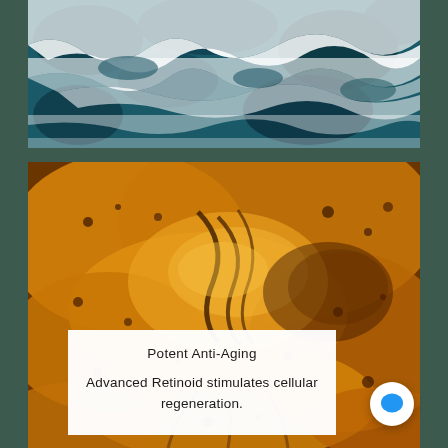[Figure (photo): Aerial view of ocean waves with white sea foam against deep teal/dark blue water]
[Figure (photo): Close-up macro photo of golden/amber serum or oil liquid with swirling patterns and bubbles on a dark brown surface]
Potent Anti-Aging
Advanced Retinoid stimulates cellular regeneration.